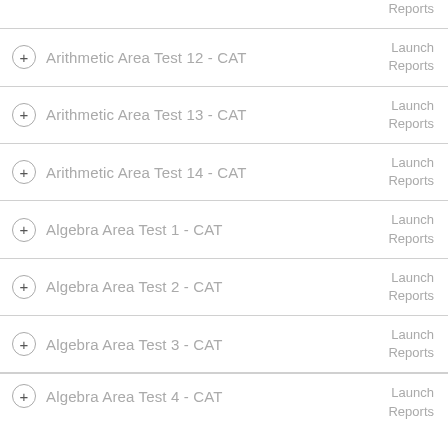Reports (partial top)
Arithmetic Area Test 12 - CAT | Launch Reports
Arithmetic Area Test 13 - CAT | Launch Reports
Arithmetic Area Test 14 - CAT | Launch Reports
Algebra Area Test 1 - CAT | Launch Reports
Algebra Area Test 2 - CAT | Launch Reports
Algebra Area Test 3 - CAT | Launch Reports
Algebra Area Test 4 - CAT | Launch Reports (partial bottom)